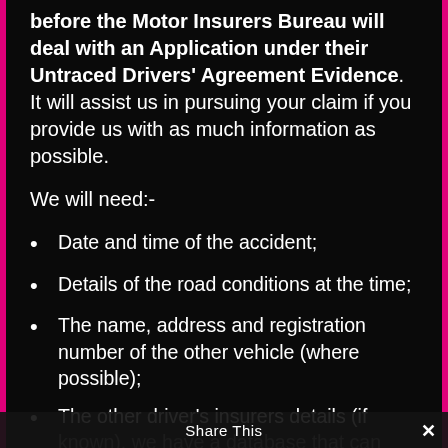before the Motor Insurers Bureau will deal with an Application under their Untraced Drivers' Agreement Evidence. It will assist us in pursuing your claim if you provide us with as much information as possible.
We will need:-
Date and time of the accident;
Details of the road conditions at the time;
The name, address and registration number of the other vehicle (where possible);
The other driver's insurers details (if known), we have a database that can usually trace this information from the